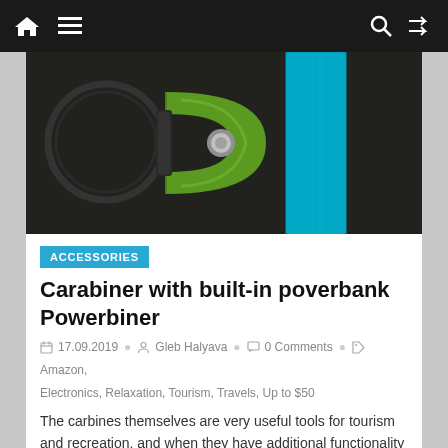Navigation bar with home, menu, search, and shuffle icons
[Figure (photo): Close-up photo of a green carabiner with a built-in power bank button, attached to a blue nylon strap, on a dark background]
ACCESSORIES
Carabiner with built-in poverbank Powerbiner
17.09.2019  Gleb Halyava  0 Comments  Amazon, Electronics, Relaxation, Tourism, Travels, Up to $50
The carbines themselves are very useful tools for tourism and recreation, and when they have additional functionality that makes them simply
Read more